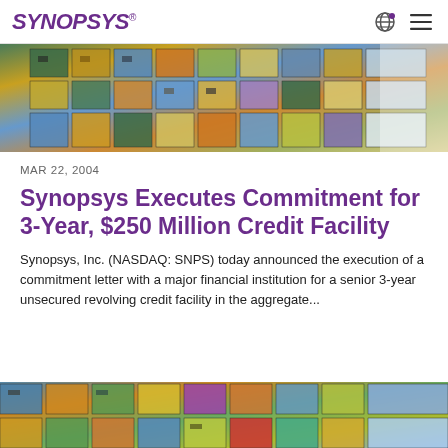SYNOPSYS®
[Figure (photo): Close-up aerial view of colorful semiconductor wafer chips, showing a grid of multicolored integrated circuit dies in green, yellow, blue, and orange tones.]
MAR 22, 2004
Synopsys Executes Commitment for 3-Year, $250 Million Credit Facility
Synopsys, Inc. (NASDAQ: SNPS) today announced the execution of a commitment letter with a major financial institution for a senior 3-year unsecured revolving credit facility in the aggregate...
[Figure (photo): Another close-up aerial view of colorful semiconductor wafer chips, similar to the first image, showing a grid of multicolored integrated circuit dies.]